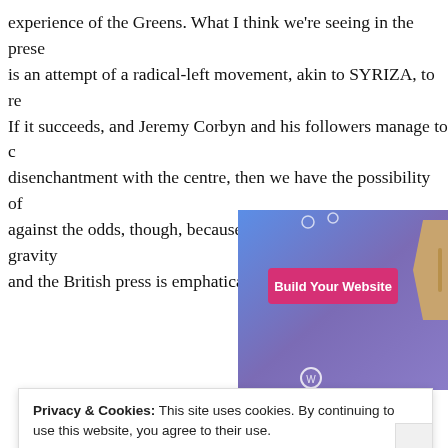experience of the Greens. What I think we're seeing in the present day is an attempt of a radical-left movement, akin to SYRIZA, to re… If it succeeds, and Jeremy Corbyn and his followers manage to channel disenchantment with the centre, then we have the possibility of … against the odds, though, because the political centre of gravity … and the British press is emphatically skewed towards the right.
[Figure (screenshot): Screenshot of a website advertisement showing a blue-purple gradient background with a pink 'Build Your Website' button and a price tag graphic on the right.]
Privacy & Cookies: This site uses cookies. By continuing to use this website, you agree to their use.
To find out more, including how to control cookies, see here: Cookie Policy
Close and accept